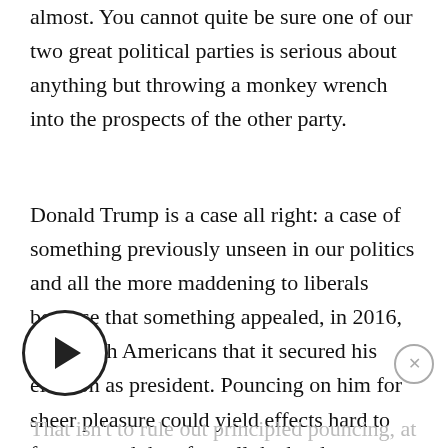almost. You cannot quite be sure one of our two great political parties is serious about anything but throwing a monkey wrench into the prospects of the other party.
Donald Trump is a case all right: a case of something previously unseen in our politics and all the more maddening to liberals because that something appealed, in 2016, to enough Americans that it secured his election as president. Pouncing on him for sheer pleasure could yield effects hard to foresee, and therefore all the harder to evaluate and control.
That isn't to rule out principled pouncing, at the